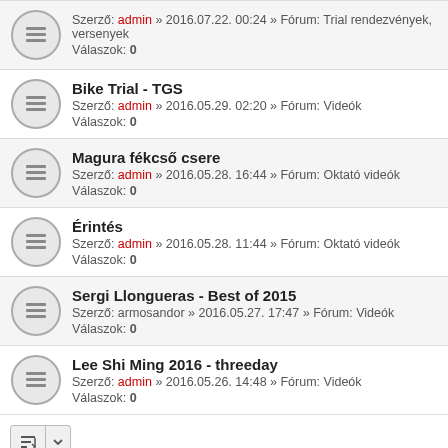Szerző: admin » 2016.07.22. 00:24 » Fórum: Trial rendezvények, versenyek Válaszok: 0
Bike Trial - TGS. Szerző: admin » 2016.05.29. 02:20 » Fórum: Videók Válaszok: 0
Magura fékcső csere. Szerző: admin » 2016.05.28. 16:44 » Fórum: Oktató videók Válaszok: 0
Érintés. Szerző: admin » 2016.05.28. 11:44 » Fórum: Oktató videók Válaszok: 0
Sergi Llongueras - Best of 2015. Szerző: armosandor » 2016.05.27. 17:47 » Fórum: Videók Válaszok: 0
Lee Shi Ming 2016 - threeday. Szerző: admin » 2016.05.26. 14:48 » Fórum: Videók Válaszok: 0